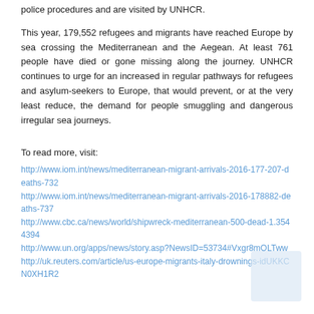police procedures and are visited by UNHCR.
This year, 179,552 refugees and migrants have reached Europe by sea crossing the Mediterranean and the Aegean. At least 761 people have died or gone missing along the journey. UNHCR continues to urge for an increased in regular pathways for refugees and asylum-seekers to Europe, that would prevent, or at the very least reduce, the demand for people smuggling and dangerous irregular sea journeys.
To read more, visit:
http://www.iom.int/news/mediterranean-migrant-arrivals-2016-177-207-deaths-732
http://www.iom.int/news/mediterranean-migrant-arrivals-2016-178882-deaths-737
http://www.cbc.ca/news/world/shipwreck-mediterranean-500-dead-1.3544394
http://www.un.org/apps/news/story.asp?NewsID=53734#Vxgr8mOLTww
http://uk.reuters.com/article/us-europe-migrants-italy-drownings-idUKKCN0XH1R2